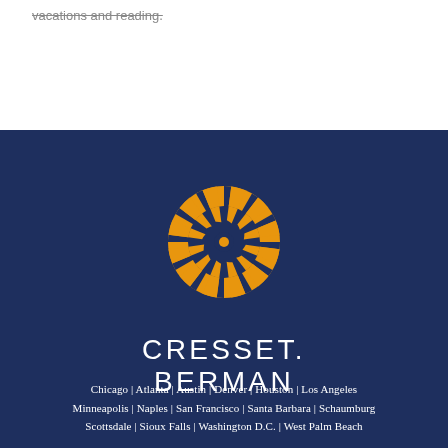vacations and reading.
[Figure (logo): Cresset Berman logo: golden sunburst/pinwheel circular mark above white CRESSET. BERMAN text on navy background]
Chicago | Atlanta | Austin | Denver | Houston | Los Angeles Minneapolis | Naples | San Francisco | Santa Barbara | Schaumburg Scottsdale | Sioux Falls | Washington D.C. | West Palm Beach